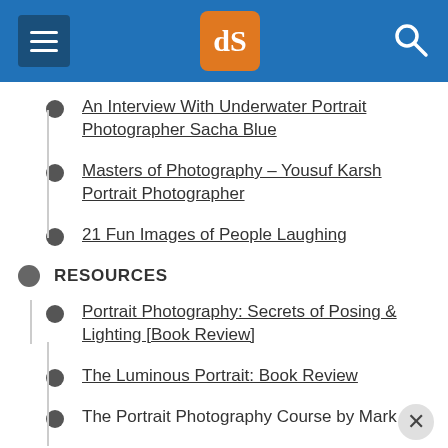dPS navigation menu
An Interview With Underwater Portrait Photographer Sacha Blue
Masters of Photography – Yousuf Karsh Portrait Photographer
21 Fun Images of People Laughing
RESOURCES
Portrait Photography: Secrets of Posing & Lighting [Book Review]
The Luminous Portrait: Book Review
The Portrait Photography Course by Mark